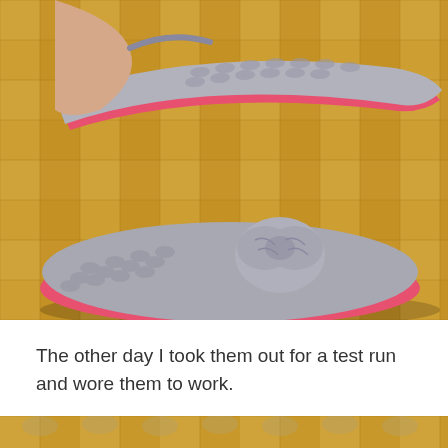[Figure (photo): A person wearing gray chunky crochet slippers with a pink/red sole trim, on a golden parquet wooden floor. The slippers have a ballet flat style with a textured crochet bow on the toe.]
The other day I took them out for a test run and wore them to work.
[Figure (photo): Bottom partial photo showing a golden/amber colored image, appears to be another view of crochet slippers on a wooden floor.]